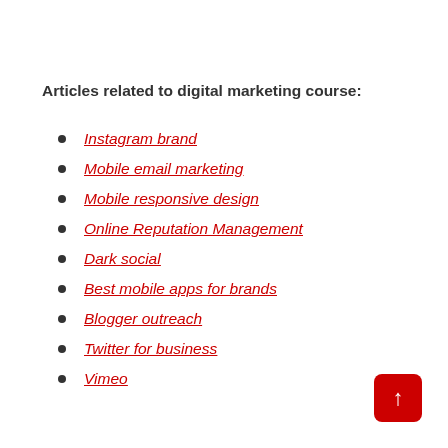Articles related to digital marketing course:
Instagram brand
Mobile email marketing
Mobile responsive design
Online Reputation Management
Dark social
Best mobile apps for brands
Blogger outreach
Twitter for business
Vimeo